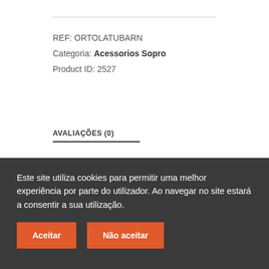REF: ORTOLATUBARN
Categoria: Acessorios Sopro
Product ID: 2527
AVALIAÇÕES (0)
Avaliações
Este site utiliza cookies para permitir uma melhor experiência por parte do utilizador. Ao navegar no site estará a consentir a sua utilização.
Aceitar
Não aceitar